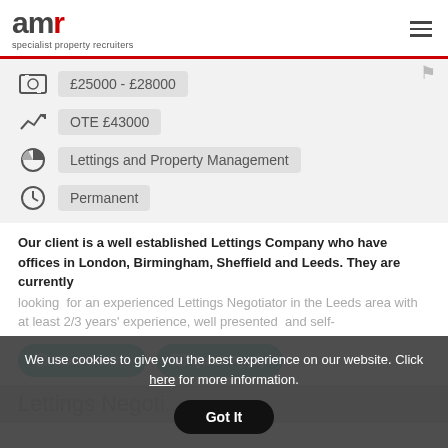amr specialist property recruiters
£25000 - £28000
OTE £43000
Lettings and Property Management
Permanent
Our client is a well established Lettings Company who have offices in London, Birmingham, Sheffield and Leeds. They are currently looking  for an experienced Lettings Negotiator in the Leeds area with at least 2/3 years' experience, well presented  and self-
More Details   Quick Apply
We use cookies to give you the best experience on our website. Click here for more information.
Got It
Lettings Negoti...